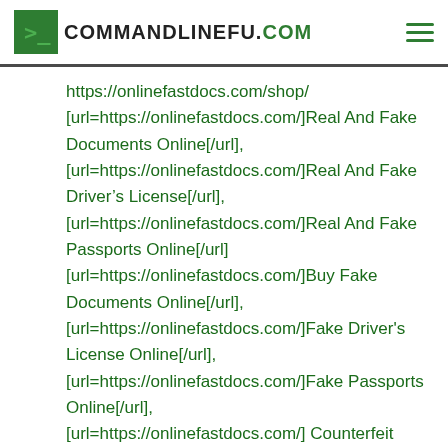COMMANDLINEFU.COM
https://onlinefastdocs.com/shop/ [url=https://onlinefastdocs.com/]Real And Fake Documents Online[/url], [url=https://onlinefastdocs.com/]Real And Fake Driver’s License[/url], [url=https://onlinefastdocs.com/]Real And Fake Passports Online[/url] [url=https://onlinefastdocs.com/]Buy Fake Documents Online[/url], [url=https://onlinefastdocs.com/]Fake Driver's License Online[/url], [url=https://onlinefastdocs.com/]Fake Passports Online[/url], [url=https://onlinefastdocs.com/] Counterfeit Money Online[/url] [url=https://onlinefastdocs.com/]Our Services[/url] [url=https://onlinefastdocs.com/passports-buy-fake-passports/]PASSPORTS-Apply And Buy a Registered Passport From Home[/url] [url=https://onlinefastdocs.com/buy-